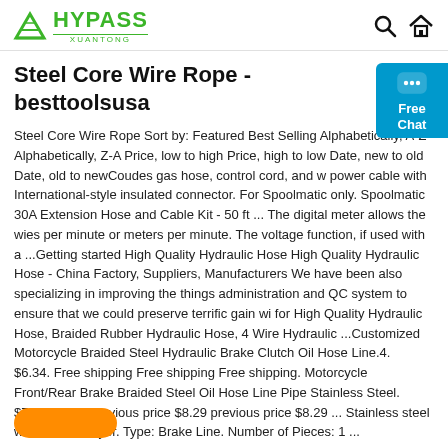HYPASS XUANTONG
Steel Core Wire Rope - besttoolsusa
Steel Core Wire Rope Sort by: Featured Best Selling Alphabetically, A-Z Alphabetically, Z-A Price, low to high Price, high to low Date, new to old Date, old to newCoudes gas hose, control cord, and w power cable with International-style insulated connector. For Spoolmatic only. Spoolmatic 30A Extension Hose and Cable Kit - 50 ft ... The digital meter allows the wies per minute or meters per minute. The voltage function, if used with a ...Getting started High Quality Hydraulic Hose High Quality Hydraulic Hose - China Factory, Suppliers, Manufacturers We have been also specializing in improving the things administration and QC system to ensure that we could preserve terrific gain wi for High Quality Hydraulic Hose, Braided Rubber Hydraulic Hose, 4 Wire Hydraulic ...Customized Motorcycle Braided Steel Hydraulic Brake Clutch Oil Hose Line.4. $6.34. Free shipping Free shipping Free shipping. Motorcycle Front/Rear Brake Braided Steel Oil Hose Line Pipe Stainless Steel. $7.46. $8.29 previous price $8.29 previous price $8.29 ... Stainless steel wire braided layer. Type: Brake Line. Number of Pieces: 1 ...